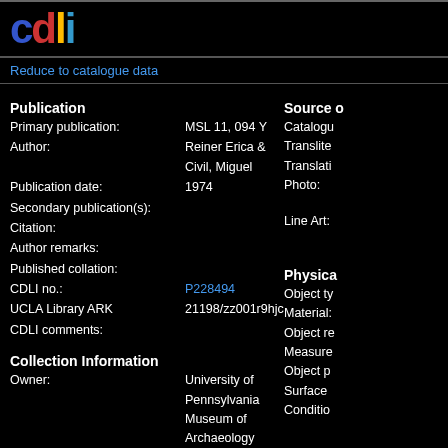[Figure (logo): CDLI logo with colored letters: c (blue), d (red), l (yellow), i (cyan) on black background]
Reduce to catalogue data
Publication
Primary publication: MSL 11, 094 Y
Author: Reiner Erica & Civil, Miguel
Publication date: 1974
Secondary publication(s):
Citation:
Author remarks:
Published collation:
CDLI no.: P228494
UCLA Library ARK 21198/zz001r9hjc
CDLI comments:
Collection Information
Owner: University of Pennsylvania Museum of Archaeology and Anthropology, Philadelphia, Pennsylvania, USA
Museum no.: N 5553
Accession no.:
Acquisition history:
Text Content:
Source o
Catalogu
Translite
Translati
Photo:
Line Art:
Physica
Object ty
Material:
Object re
Measure
Object p
Surface
Conditio